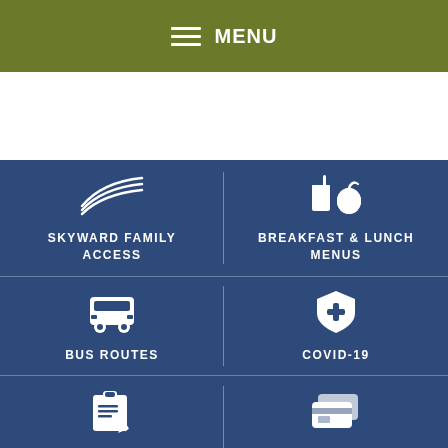MENU
[Figure (screenshot): School district website mobile navigation screenshot with menu bar, white content area, and quick-link grid]
SKYWARD FAMILY ACCESS
BREAKFAST & LUNCH MENUS
BUS ROUTES
COVID-19
ENROLLMENT &
ONLINE PAYMENTS